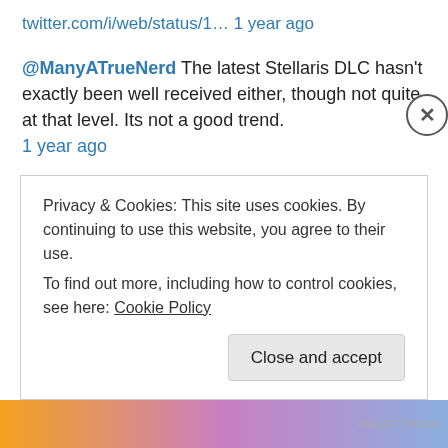twitter.com/i/web/status/1… 1 year ago
@ManyATrueNerd The latest Stellaris DLC hasn't exactly been well received either, though not quite at that level. Its not a good trend. 1 year ago
@ManyATrueNerd A lot of Australian plants actually need fire to reproduce. 1 year ago
@ManyATrueNerd First thought when I saw the announcement was that you'd be excited about it. 2 years ago
@ManyATrueNerd PDX promised never to go Epic exclusive not long ago but now we have a year long 'early access' for…
Privacy & Cookies: This site uses cookies. By continuing to use this website, you agree to their use. To find out more, including how to control cookies, see here: Cookie Policy